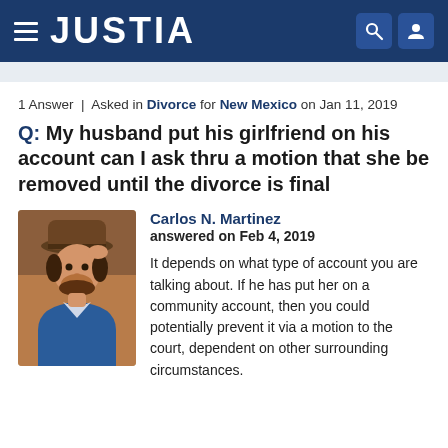JUSTIA
1 Answer | Asked in Divorce for New Mexico on Jan 11, 2019
Q: My husband put his girlfriend on his account can I ask thru a motion that she be removed until the divorce is final
Carlos N. Martinez
answered on Feb 4, 2019
It depends on what type of account you are talking about. If he has put her on a community account, then you could potentially prevent it via a motion to the court, dependent on other surrounding circumstances.